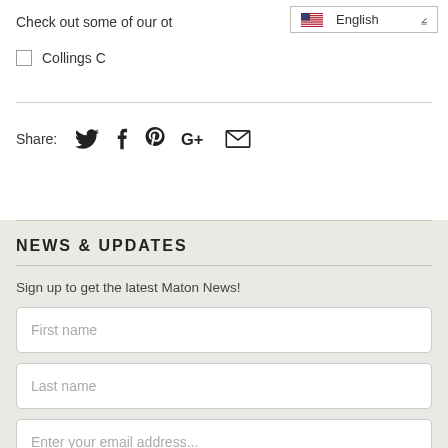Check out some of our ot
[Figure (screenshot): Language selector dropdown showing English with US flag]
Collings C
Share: [Twitter] [Facebook] [Pinterest] [Google+] [Email]
NEWS & UPDATES
Sign up to get the latest Maton News!
First name
Last name
Enter your email address...